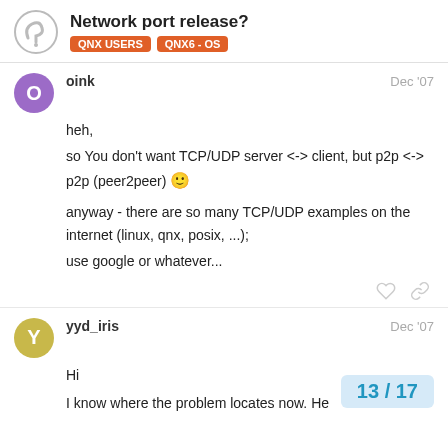Network port release? — QNX USERS | QNX6 - OS
oink — Dec '07
heh,
so You don't want TCP/UDP server <-> client, but p2p <-> p2p (peer2peer) :)
anyway - there are so many TCP/UDP examples on the internet (linux, qnx, posix, ...);
use google or whatever...
yyd_iris — Dec '07
Hi
I know where the problem locates now. He